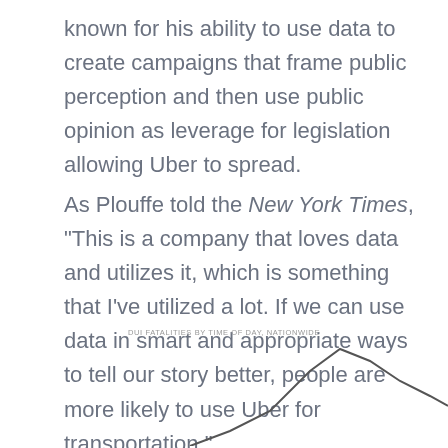known for his ability to use data to create campaigns that frame public perception and then use public opinion as leverage for legislation allowing Uber to spread.
As Plouffe told the New York Times, “This is a company that loves data and utilizes it, which is something that I’ve utilized a lot. If we can use data in smart and appropriate ways to tell our story better, people are more likely to use Uber for transportation.”
[Figure (continuous-plot): Partial view of a line chart titled 'DUI FATALITIES BY TIME OF DAY, NATIONWIDE' showing a rising line/spike pattern, cut off at the bottom of the page.]